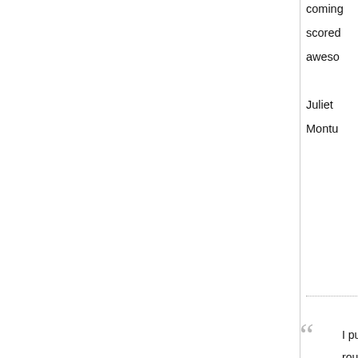coming scored awes
Juliet Mont
I purc round with t accom all th riders tempe
Nicky Owne